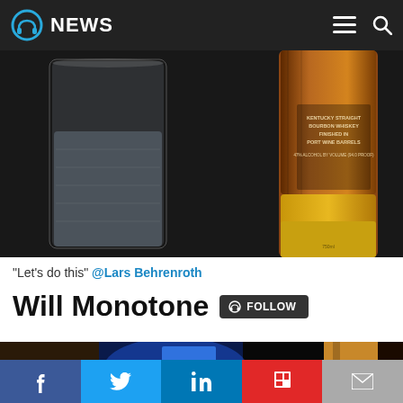NEWS
[Figure (photo): Photo of a Kentucky Straight Bourbon Whiskey bottle finished in port wine barrels next to a glass of water on a dark table]
“Let’s do this” @Lars Behrenroth
Will Monotone
[Figure (photo): Partially visible photo with dark background showing blue and warm-toned objects]
Social share buttons: Facebook, Twitter, LinkedIn, Flipboard, Email